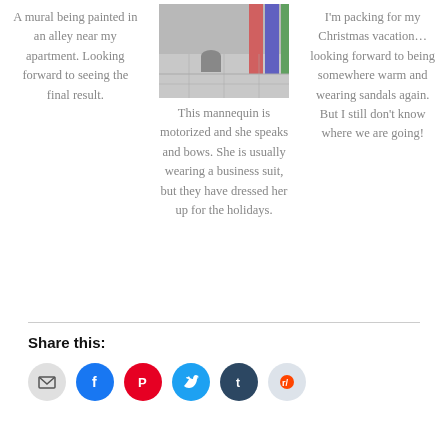A mural being painted in an alley near my apartment. Looking forward to seeing the final result.
[Figure (photo): Street photo showing a sidewalk with posters/signs visible and a trash bin]
This mannequin is motorized and she speaks and bows. She is usually wearing a business suit, but they have dressed her up for the holidays.
I'm packing for my Christmas vacation… looking forward to being somewhere warm and wearing sandals again. But I still don't know where we are going!
Share this:
[Figure (other): Row of social share icons: email, Facebook, Pinterest, Twitter, Tumblr, Reddit]